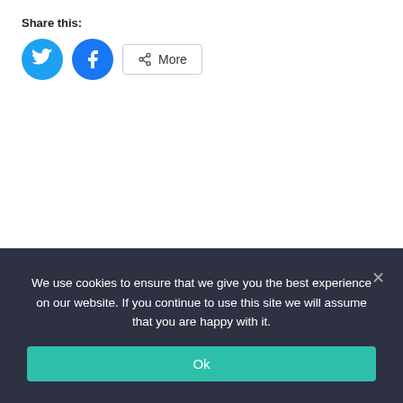Share this:
[Figure (other): Twitter share button (blue circle with bird icon), Facebook share button (blue circle with f icon), and More button with share icon]
We use cookies to ensure that we give you the best experience on our website. If you continue to use this site we will assume that you are happy with it.
Ok